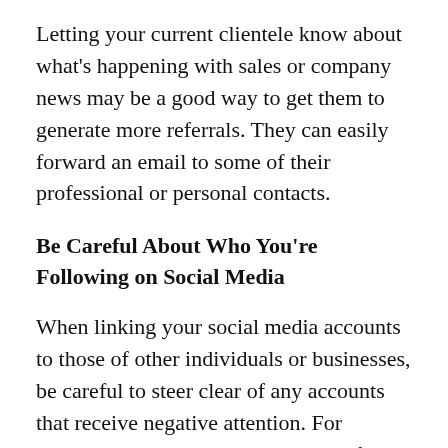Letting your current clientele know about what's happening with sales or company news may be a good way to get them to generate more referrals. They can easily forward an email to some of their professional or personal contacts.
Be Careful About Who You're Following on Social Media
When linking your social media accounts to those of other individuals or businesses, be careful to steer clear of any accounts that receive negative attention. For example, don't demonstrate support for controversial interest